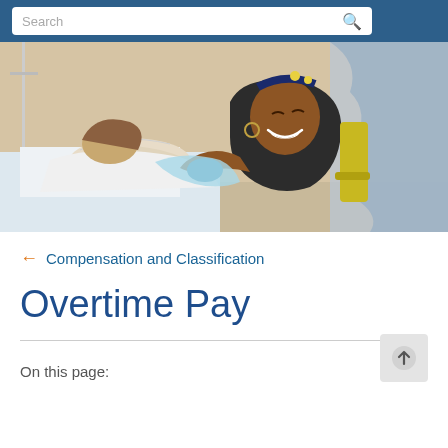Search
[Figure (photo): Healthcare worker smiling and embracing a patient in a hospital room setting]
← Compensation and Classification
Overtime Pay
On this page: